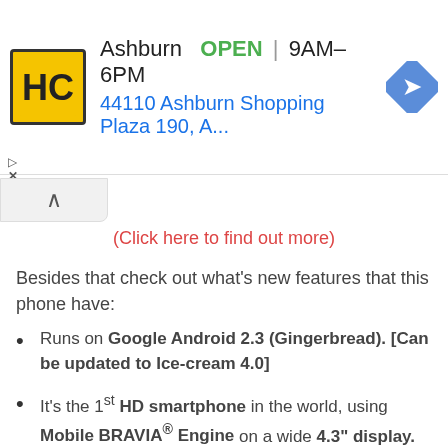[Figure (screenshot): Ad banner for HC store in Ashburn showing logo, OPEN status, hours 9AM-6PM, address 44110 Ashburn Shopping Plaza 190, A..., and navigation arrow icon]
(Click here to find out more)
Besides that check out what's new features that this phone have:
Runs on Google Android 2.3 (Gingerbread). [Can be updated to Ice-cream 4.0]
It's the 1st HD smartphone in the world, using Mobile BRAVIA® Engine on a wide 4.3" display.
Capture life's moments with the 12-megapixel camera and full HD video recording.